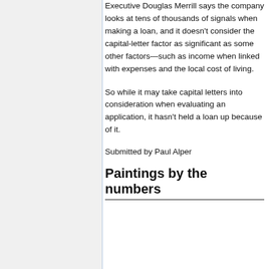Executive Douglas Merrill says the company looks at tens of thousands of signals when making a loan, and it doesn't consider the capital-letter factor as significant as some other factors—such as income when linked with expenses and the local cost of living.
So while it may take capital letters into consideration when evaluating an application, it hasn't held a loan up because of it.
Submitted by Paul Alper
Paintings by the numbers